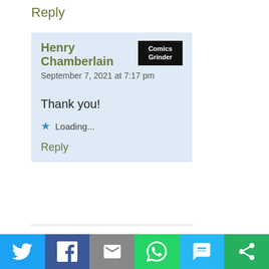Reply
Henry Chamberlain
September 7, 2021 at 7:17 pm
Thank you!
Loading...
Reply
[Figure (infographic): Social sharing bar with Twitter, Facebook, Email, WhatsApp, SMS, and ShareThis buttons]